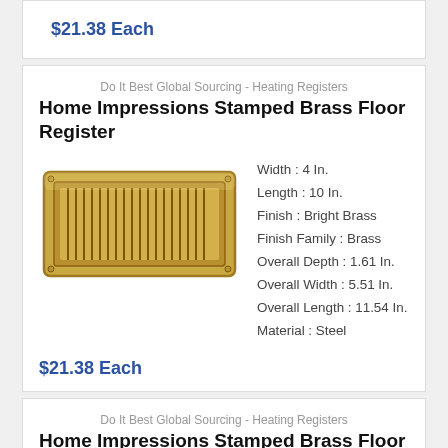$21.38 Each
Do It Best Global Sourcing - Heating Registers
Home Impressions Stamped Brass Floor Register
[Figure (photo): A rectangular brass floor register/vent cover with vertical slats and brass finish, viewed from above at a slight angle.]
Width : 4 In.
Length : 10 In.
Finish : Bright Brass
Finish Family : Brass
Overall Depth : 1.61 In.
Overall Width : 5.51 In.
Overall Length : 11.54 In.
Material : Steel
$21.38 Each
Do It Best Global Sourcing - Heating Registers
Home Impressions Stamped Brass Floor Register